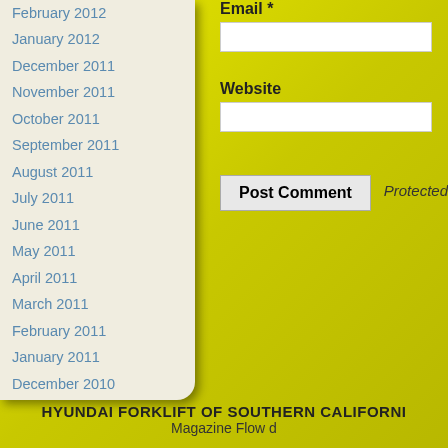February 2012
January 2012
December 2011
November 2011
October 2011
September 2011
August 2011
July 2011
June 2011
May 2011
April 2011
March 2011
February 2011
January 2011
December 2010
November 2010
October 2010
June 2010
May 2010
Email *
Website
Post Comment
Protected
HYUNDAI FORKLIFT OF SOUTHERN CALIFORNI
Magazine Flow d